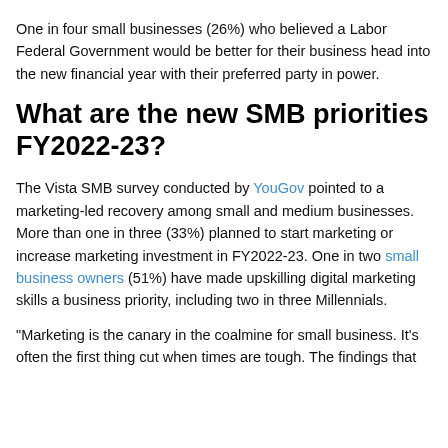One in four small businesses (26%) who believed a Labor Federal Government would be better for their business head into the new financial year with their preferred party in power.
What are the new SMB priorities FY2022-23?
The Vista SMB survey conducted by YouGov pointed to a marketing-led recovery among small and medium businesses. More than one in three (33%) planned to start marketing or increase marketing investment in FY2022-23. One in two small business owners (51%) have made upskilling digital marketing skills a business priority, including two in three Millennials.
"Marketing is the canary in the coalmine for small business. It's often the first thing cut when times are tough. The findings that